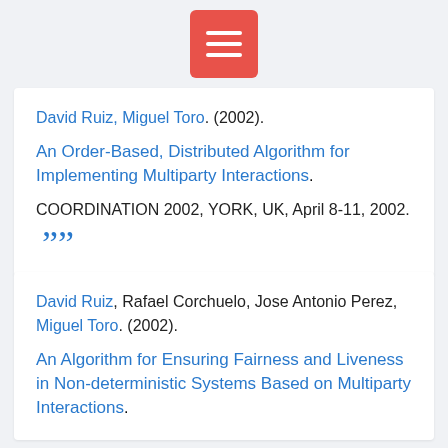David Ruiz, Miguel Toro. (2002).
An Order-Based, Distributed Algorithm for Implementing Multiparty Interactions.
COORDINATION 2002, YORK, UK, April 8-11, 2002.
David Ruiz, Rafael Corchuelo, Jose Antonio Perez, Miguel Toro. (2002).
An Algorithm for Ensuring Fairness and Liveness in Non-deterministic Systems Based on Multiparty Interactions.